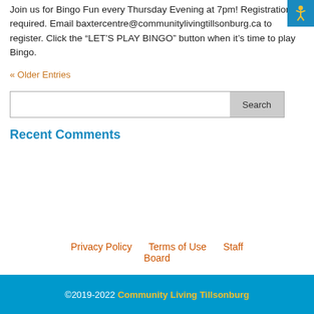Join us for Bingo Fun every Thursday Evening at 7pm! Registration required. Email baxtercentre@communitylivingtillsonburg.ca to register. Click the “LET’S PLAY BINGO” button when it’s time to play Bingo.
« Older Entries
Search
Recent Comments
Privacy Policy   Terms of Use   Staff Board
©2019-2022 Community Living Tillsonburg